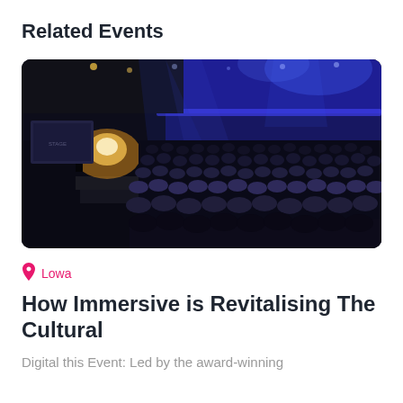Related Events
[Figure (photo): A large indoor concert or conference venue filled with a massive audience. The venue features dramatic blue stage lighting from above and a bright spotlight on stage left. A speaker or presenter stands on a dark stage with a large screen behind them. The crowd fills the entire floor area.]
Lowa
How Immersive is Revitalising The Cultural
Digital this Event: Led by the award-winning